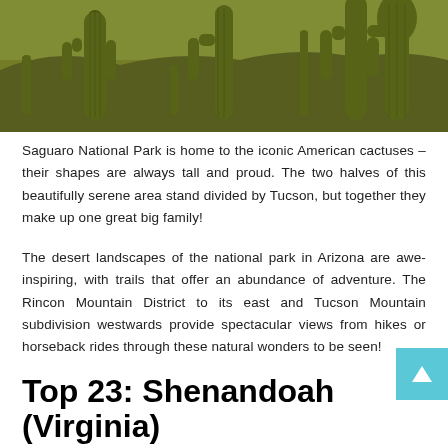[Figure (photo): Desert landscape with tall saguaro cactuses in Saguaro National Park, Arizona. Multiple large cacti against a backdrop of desert scrub vegetation with warm golden light.]
Saguaro National Park is home to the iconic American cactuses – their shapes are always tall and proud. The two halves of this beautifully serene area stand divided by Tucson, but together they make up one great big family!
The desert landscapes of the national park in Arizona are awe-inspiring, with trails that offer an abundance of adventure. The Rincon Mountain District to its east and Tucson Mountain subdivision westwards provide spectacular views from hikes or horseback rides through these natural wonders to be seen!
Top 23: Shenandoah (Virginia)